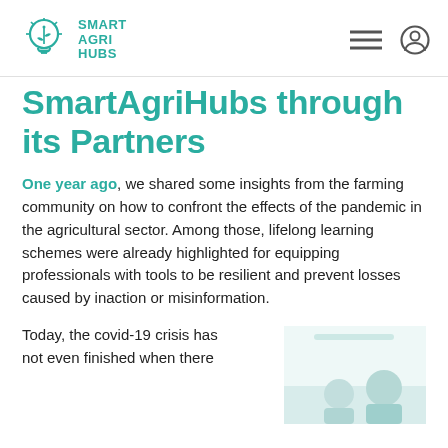SMART AGRI HUBS
SmartAgriHubs through its Partners
One year ago, we shared some insights from the farming community on how to confront the effects of the pandemic in the agricultural sector. Among those, lifelong learning schemes were already highlighted for equipping professionals with tools to be resilient and prevent losses caused by inaction or misinformation.
Today, the covid-19 crisis has not even finished when there
[Figure (photo): Photo of two people in a professional or agricultural setting, partially visible at bottom right of the page]